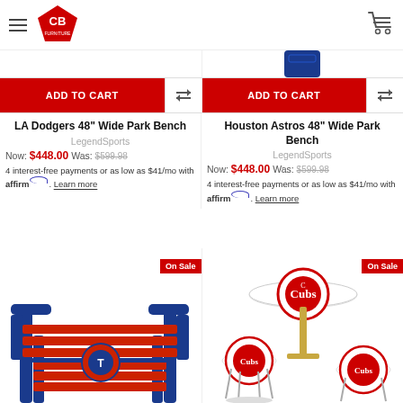CB Furniture - navigation header with logo and cart
[Figure (screenshot): Partial blue product image at top right]
ADD TO CART (left column)
ADD TO CART (right column)
LA Dodgers 48" Wide Park Bench
Houston Astros 48" Wide Park Bench
LegendSports
LegendSports
Now: $448.00  Was: $599.98
Now: $448.00  Was: $599.98
4 interest-free payments or as low as $41/mo with affirm. Learn more
4 interest-free payments or as low as $41/mo with affirm. Learn more
[Figure (photo): Texas Rangers blue and red park bench with Rangers logo - On Sale badge]
[Figure (photo): Chicago Cubs table and stools set with Cubs logo - On Sale badge]